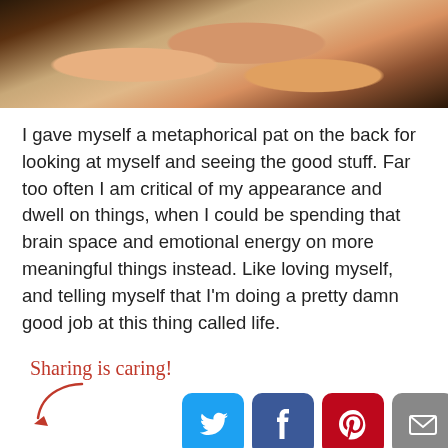[Figure (photo): Cropped photo showing a person wearing a floral patterned top, visible from shoulder/neckline area]
I gave myself a metaphorical pat on the back for looking at myself and seeing the good stuff. Far too often I am critical of my appearance and dwell on things, when I could be spending that brain space and emotional energy on more meaningful things instead. Like loving myself, and telling myself that I'm doing a pretty damn good job at this thing called life.
[Figure (infographic): Sharing is caring! label with arrow and social media share buttons: Twitter, Facebook, Pinterest, Email, and a share icon]
You may also like: